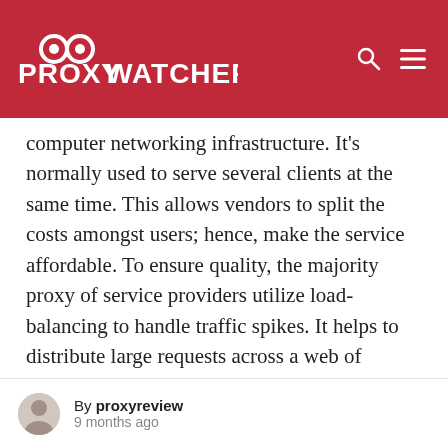PROXYWATCHER
computer networking infrastructure. It's normally used to serve several clients at the same time. This allows vendors to split the costs amongst users; hence, make the service affordable. To ensure quality, the majority proxy of service providers utilize load-balancing to handle traffic spikes. It helps to distribute large requests across a web of interlinked data centers. This setup enables users to enjoy a smooth experience all through.
Semi-Dedicated Proxy
By proxyreview
9 months ago